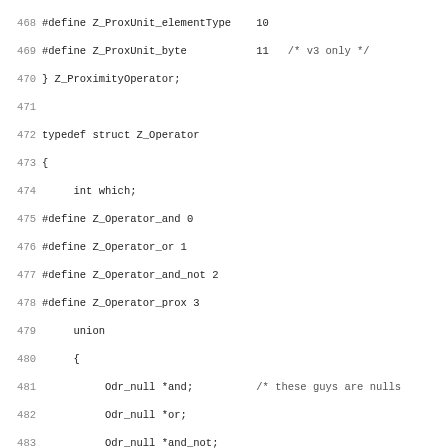[Figure (other): C source code listing showing lines 468-499, defining Z_ProxUnit_elementType, Z_ProxUnit_byte, Z_ProximityOperator struct end, Z_Operator typedef struct with union, Z_Operand typedef struct with union and fields.]